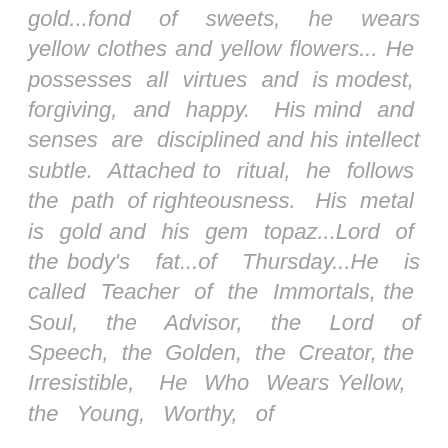gold...fond of sweets, he wears yellow clothes and yellow flowers... He possesses all virtues and is modest, forgiving, and happy. His mind and senses are disciplined and his intellect subtle. Attached to ritual, he follows the path of righteousness. His metal is gold and his gem topaz...Lord of the body's fat...of Thursday...He is called Teacher of the Immortals, the Soul, the Advisor, the Lord of Speech, the Golden, the Creator, the Irresistible, He Who Wears Yellow, the Young, Worthy, of